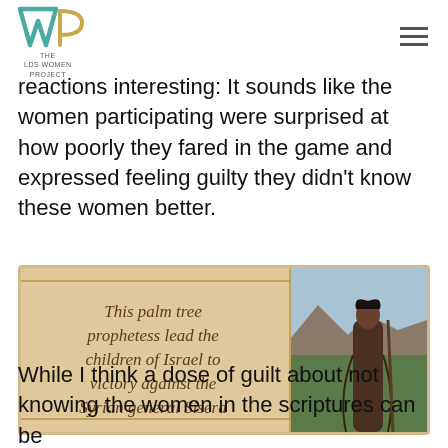THE LDS WOMEN PROJECT
reactions interesting: It sounds like the women participating were surprised at how poorly they fared in the game and expressed feeling guilty they didn't know these women better.
[Figure (illustration): A decorative image on a parchment background with calligraphy text reading: 'This palm tree prophetess lead the children of Israel to victory against the Syrian general Sisera', alongside a painted illustration of a biblical-era woman in robes standing in a landscape.]
While I think a dose of guilt about not knowing the women in the scriptures can be